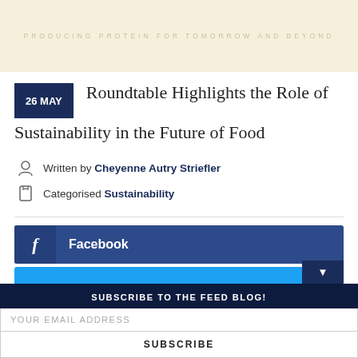PRODUCING PROTEIN FOR TOMORROW AND BEYOND
Roundtable Highlights the Role of Sustainability in the Future of Food
Written by Cheyenne Autry Striefler
Categorised Sustainability
Facebook
SUBSCRIBE TO THE FEED BLOG!
YOUR EMAIL ADDRESS
SUBSCRIBE